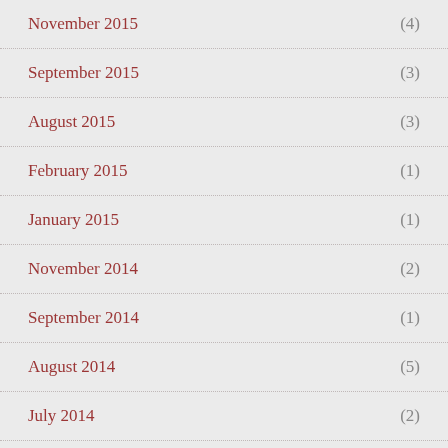November 2015 (4)
September 2015 (3)
August 2015 (3)
February 2015 (1)
January 2015 (1)
November 2014 (2)
September 2014 (1)
August 2014 (5)
July 2014 (2)
March 2014 (1)